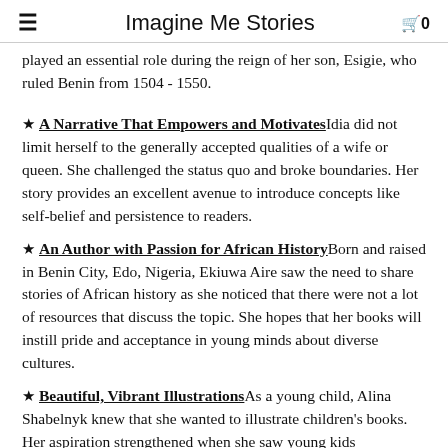Imagine Me Stories
played an essential role during the reign of her son, Esigie, who ruled Benin from 1504 - 1550.
A Narrative That Empowers and Motivates — Idia did not limit herself to the generally accepted qualities of a wife or queen. She challenged the status quo and broke boundaries. Her story provides an excellent avenue to introduce concepts like self-belief and persistence to readers.
An Author with Passion for African History — Born and raised in Benin City, Edo, Nigeria, Ekiuwa Aire saw the need to share stories of African history as she noticed that there were not a lot of resources that discuss the topic. She hopes that her books will instill pride and acceptance in young minds about diverse cultures.
Beautiful, Vibrant Illustrations — As a young child, Alina Shabelnyk knew that she wanted to illustrate children's books. Her aspiration strengthened when she saw young kids